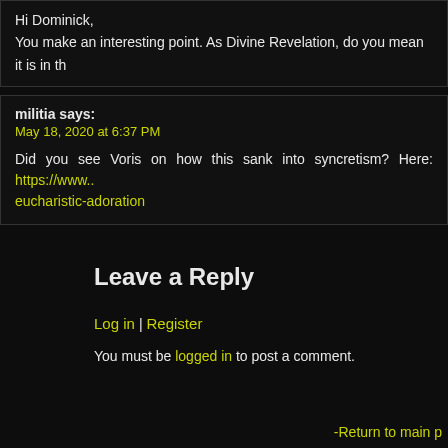Hi Dominick, You make an interesting point. As Divine Revelation, do you mean it is in th
militia says: May 18, 2020 at 6:37 PM Did you see Voris on how this sank into syncretism? Here: https://www.... eucharistic-adoration
Leave a Reply
Log in | Register
You must be logged in to post a comment.
-Return to main p